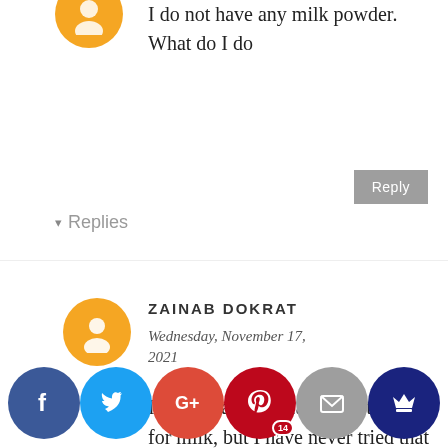I do not have any milk powder. What do I do
▾ Replies
ZAINAB DOKRAT
Wednesday, November 17, 2021
I have heard you can substitute it for milk, but I have never tried that so it's not something I can confidently recommend to you. If you're looking for another dough recipe, I sha[red ano]th[er p]reviou[sly] which y[ou...]